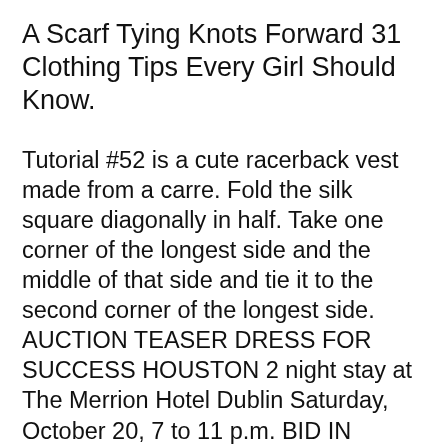A Scarf Tying Knots Forward 31 Clothing Tips Every Girl Should Know.
Tutorial #52 is a cute racerback vest made from a carre. Fold the silk square diagonally in half. Take one corner of the longest side and the middle of that side and tie it to the second corner of the longest side. AUCTION TEASER DRESS FOR SUCCESS HOUSTON 2 night stay at The Merrion Hotel Dublin Saturday, October 20, 7 to 11 p.m. BID IN ABSENTIA Catarina Bill:
Be sure to form the square knot and avoid tying a granny knot, by making sure that both parts of the rope, the standing line and the free end, exit the